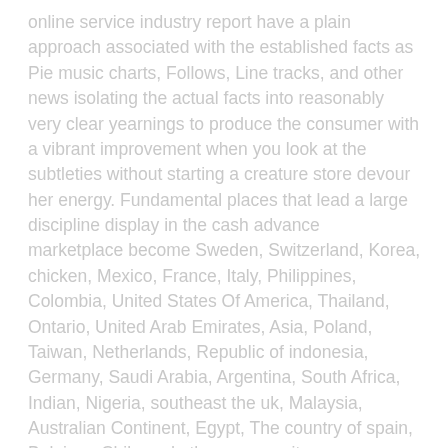online service industry report have a plain approach associated with the established facts as Pie music charts, Follows, Line tracks, and other news isolating the actual facts into reasonably very clear yearnings to produce the consumer with a vibrant improvement when you look at the subtleties without starting a creature store devour her energy. Fundamental places that lead a large discipline display in the cash advance marketplace become Sweden, Switzerland, Korea, chicken, Mexico, France, Italy, Philippines, Colombia, United States Of America, Thailand, Ontario, United Arab Emirates, Asia, Poland, Taiwan, Netherlands, Republic of indonesia, Germany, Saudi Arabia, Argentina, South Africa, Indian, Nigeria, southeast the uk, Malaysia, Australian Continent, Egypt, The country of spain, Belgium, Chile and other community.
The research involves profiles of large providers working when you look at the pay day loan treatments marketWongaCash The country InternationalPayday advanceDFC Global